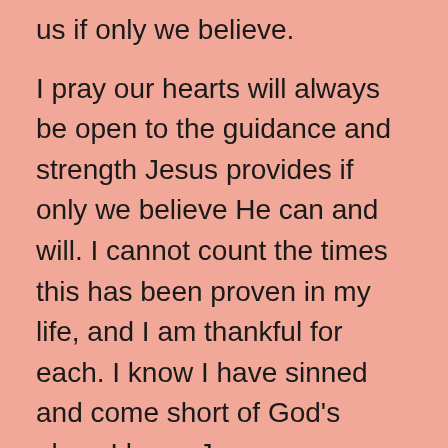us if only we believe. I pray our hearts will always be open to the guidance and strength Jesus provides if only we believe He can and will. I cannot count the times this has been proven in my life, and I am thankful for each. I know I have sinned and come short of God’s glory. I know Jesus forgiveness for that sin and His guidance will pull me through and into heaven at day’s end. It is my prayer that each person reading this devotional can see the same in his or her life. For those who are not quite there yet, I pray somehow the path can be seen and followed